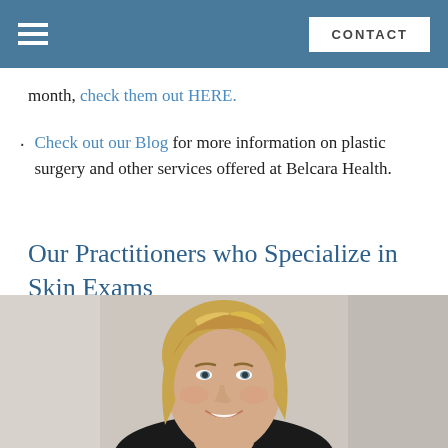CONTACT
month, check them out HERE.
Check out our Blog for more information on plastic surgery and other services offered at Belcara Health.
Our Practitioners who Specialize in Skin Exams
[Figure (photo): Professional headshot of a smiling blonde woman, likely a medical practitioner at Belcara Health, against a neutral/light beige background.]